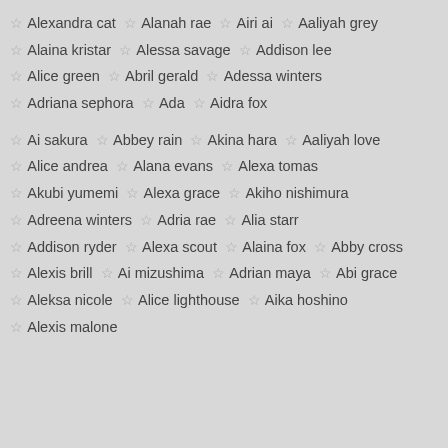☆ Alexandra cat  ☆ Alanah rae  ☆ Airi ai  ☆ Aaliyah grey
☆ Alaina kristar  ☆ Alessa savage  ☆ Addison lee
☆ Alice green  ☆ Abril gerald  ☆ Adessa winters
☆ Adriana sephora  ☆ Ada  ☆ Aidra fox
☆ Ai sakura  ☆ Abbey rain  ☆ Akina hara  ☆ Aaliyah love
☆ Alice andrea  ☆ Alana evans  ☆ Alexa tomas
☆ Akubi yumemi  ☆ Alexa grace  ☆ Akiho nishimura
☆ Adreena winters  ☆ Adria rae  ☆ Alia starr
☆ Addison ryder  ☆ Alexa scout  ☆ Alaina fox  ☆ Abby cross
☆ Alexis brill  ☆ Ai mizushima  ☆ Adrian maya  ☆ Abi grace
☆ Aleksa nicole  ☆ Alice lighthouse  ☆ Aika hoshino
☆ Alexis malone